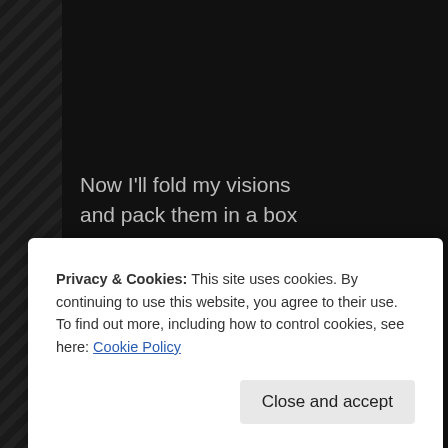Now I'll fold my visions
and pack them in a box
they were just some rain that fell
on a great big pile of rocks
Get along little car
get along and fast
my head's in the present
but my heart's in the past
Privacy & Cookies: This site uses cookies. By continuing to use this website, you agree to their use.
To find out more, including how to control cookies, see here: Cookie Policy
Close and accept